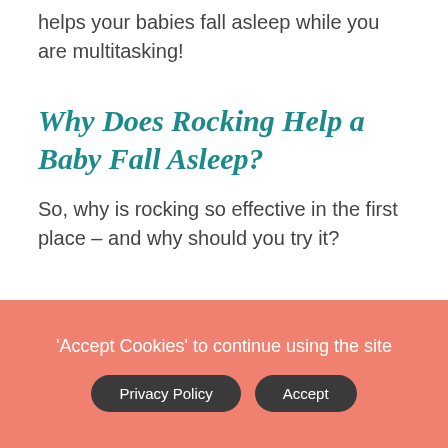helps your babies fall asleep while you are multitasking!
Why Does Rocking Help a Baby Fall Asleep?
So, why is rocking so effective in the first place – and why should you try it?
'Accept Cookies' to continue using the site
Privacy Policy
Accept